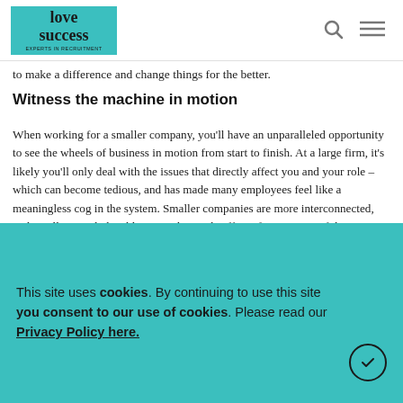love success EXPERTS IN RECRUITMENT
to make a difference and change things for the better.
Witness the machine in motion
When working for a smaller company, you'll have an unparalleled opportunity to see the wheels of business in motion from start to finish. At a large firm, it's likely you'll only deal with the issues that directly affect you and your role – which can become tedious, and has made many employees feel like a meaningless cog in the system. Smaller companies are more interconnected, and you'll certainly be able to see the ripple effect of your successful projects on the rest of the business. You can boost to really add value in a way that makes people feel their best possible.
If you'd like more tips on gaining a permanent secretary role, a temporary PA job or an office support opportunity at an
This site uses cookies. By continuing to use this site you consent to our use of cookies. Please read our Privacy Policy here.